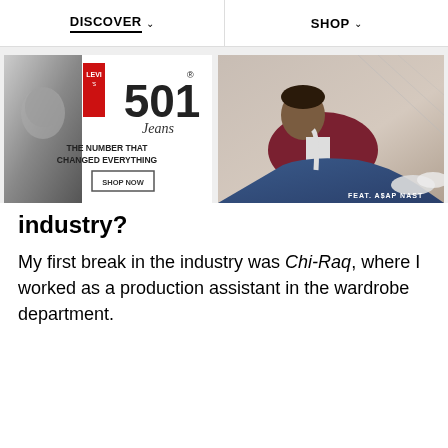DISCOVER   SHOP
[Figure (photo): Levi's 501 Jeans advertisement with black and white photo on left and red Levi's logo, 501 Jeans text, 'THE NUMBER THAT CHANGED EVERYTHING' tagline and SHOP NOW button]
[Figure (photo): A$AP Nast advertisement for Levi's featuring man in denim jacket and jeans reclining, text 'FEAT. A$AP NAST']
industry?
My first break in the industry was Chi-Raq, where I worked as a production assistant in the wardrobe department.